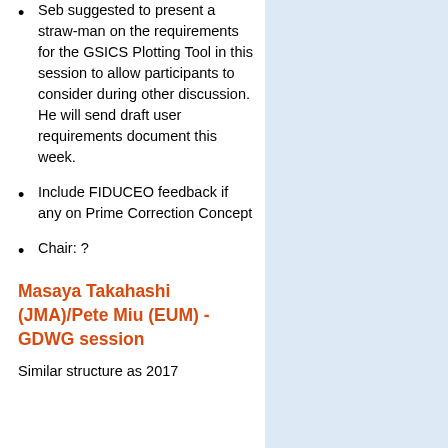Seb suggested to present a straw-man on the requirements for the GSICS Plotting Tool in this session to allow participants to consider during other discussion. He will send draft user requirements document this week.
Include FIDUCEO feedback if any on Prime Correction Concept
Chair: ?
Masaya Takahashi (JMA)/Pete Miu (EUM) - GDWG session
Similar structure as 2017